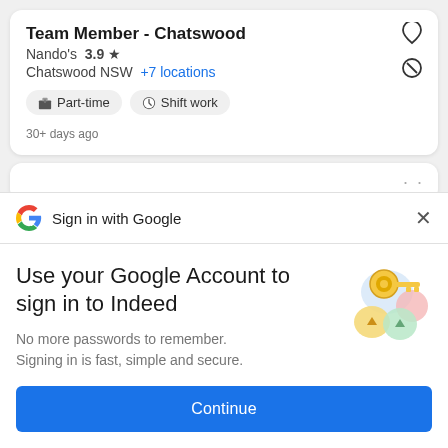Team Member - Chatswood
Nando's  3.9 ★
Chatswood NSW  +7 locations
Part-time
Shift work
30+ days ago
Sign in with Google
Use your Google Account to sign in to Indeed
No more passwords to remember. Signing in is fast, simple and secure.
[Figure (illustration): Google sign-in key illustration with colorful circles and a golden key]
Continue